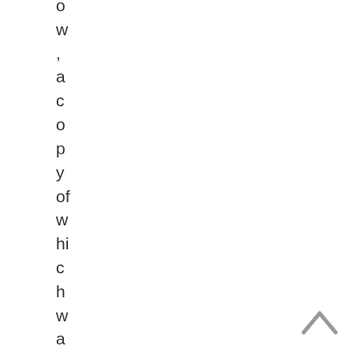ow, a copy of which was reviewed b
[Figure (other): Back/up navigation arrow (chevron) in gray, bottom right corner]